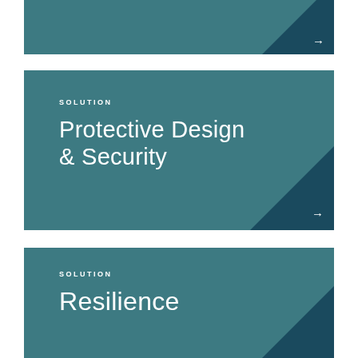[Figure (infographic): Teal solution card (top, partially visible) with arrow navigation button in dark teal corner]
[Figure (infographic): Solution card with label 'SOLUTION' and title 'Protective Design & Security' on teal background with dark teal corner arrow]
[Figure (infographic): Solution card with label 'SOLUTION' and title 'Resilience' on teal background with dark teal corner arrow (partially visible)]